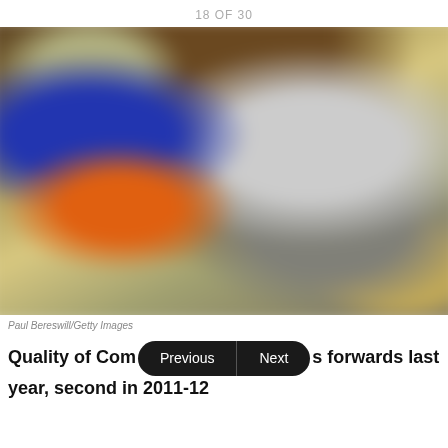18 OF 30
[Figure (photo): Blurred hockey action photo showing players on ice, one in a blue/orange jersey and another in white/grey, with an orange puck visible.]
Paul Bereswill/Getty Images
Quality of Com… s forwards last year, second in 2011-12